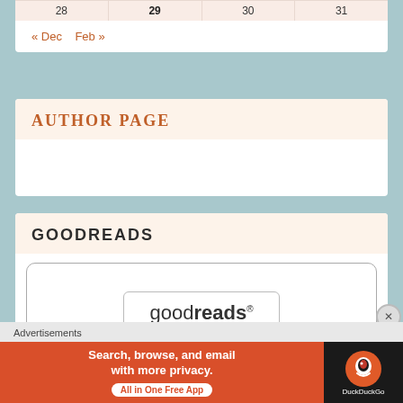| 28 | 29 | 30 | 31 |
« Dec    Feb »
AUTHOR PAGE
GOODREADS
[Figure (logo): Goodreads logo inside rounded widget area]
Advertisements
[Figure (infographic): DuckDuckGo advertisement banner: 'Search, browse, and email with more privacy. All in One Free App' with DuckDuckGo logo on dark background]